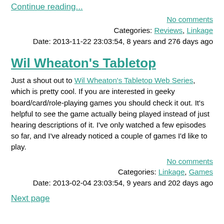Continue reading...
No comments
Categories: Reviews, Linkage
Date: 2013-11-22 23:03:54, 8 years and 276 days ago
Wil Wheaton's Tabletop
Just a shout out to Wil Wheaton's Tabletop Web Series, which is pretty cool. If you are interested in geeky board/card/role-playing games you should check it out. It's helpful to see the game actually being played instead of just hearing descriptions of it. I've only watched a few episodes so far, and I've already noticed a couple of games I'd like to play.
No comments
Categories: Linkage, Games
Date: 2013-02-04 23:03:54, 9 years and 202 days ago
Next page